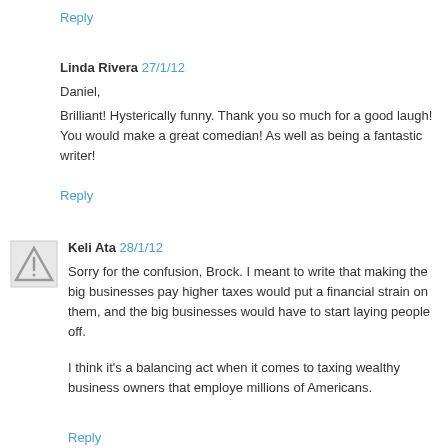Reply
Linda Rivera 27/1/12
Daniel,
Brilliant! Hysterically funny. Thank you so much for a good laugh! You would make a great comedian! As well as being a fantastic writer!
Reply
Keli Ata 28/1/12
Sorry for the confusion, Brock. I meant to write that making the big businesses pay higher taxes would put a financial strain on them, and the big businesses would have to start laying people off.
I think it's a balancing act when it comes to taxing wealthy business owners that employe millions of Americans.
Reply